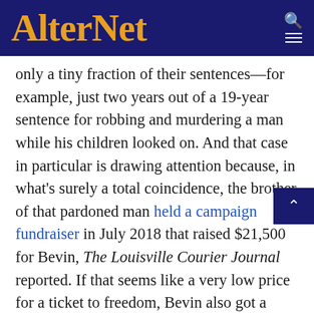AlterNet
only a tiny fraction of their sentences—for example, just two years out of a 19-year sentence for robbing and murdering a man while his children looked on. And that case in particular is drawing attention because, in what's surely a total coincidence, the brother of that pardoned man held a campaign fundraiser in July 2018 that raised $21,500 for Bevin, The Louisville Courier Journal reported. If that seems like a very low price for a ticket to freedom, Bevin also got a letter from another big donor asking him to issue this pardon.